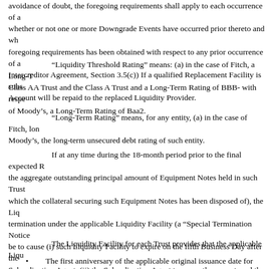avoidance of doubt, the foregoing requirements shall apply to each occurrence of a whether or not one or more Downgrade Events have occurred prior thereto and wh foregoing requirements has been obtained with respect to any prior occurrence of a Intercreditor Agreement, Section 3.5(c)) If a qualified Replacement Facility is subs Account will be repaid to the replaced Liquidity Provider.
"Liquidity Threshold Rating" means: (a) in the case of Fitch, a Long-T Class AA Trust and the Class A Trust and a Long-Term Rating of BBB- with respe of Moody’s, a Long-Term Rating of Baa2.
"Long-Term Rating" means, for any entity, (a) in the case of Fitch, lon Moody’s, the long-term unsecured debt rating of such entity.
If at any time during the 18-month period prior to the final expected R the aggregate outstanding principal amount of Equipment Notes held in such Trust which the collateral securing such Equipment Notes has been disposed of), the Liq termination under the applicable Liquidity Facility (a “Special Termination Notice be to cause (i) such Liquidity Facility to expire on the fifth Business Day after the Subordination Agent, (ii) the Subordination Agent to promptly request, and the Lic “Special Termination Drawing”) in an amount equal to the Maximum Available Co Provider automatically to become accelerated. The proceeds of a Special Terminat Account and used for the same purposes under the same circumstances and subject such Liquidity Facility would be used. (Liquidity Facilities, Section 6.02; Intercre
The Liquidity Facility for each Trust provides that the applicable Liqu
The first anniversary of the applicable original issuance date for